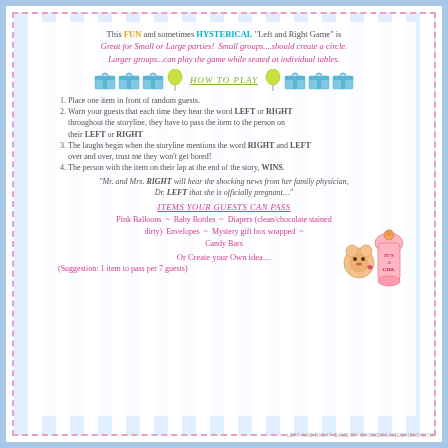This FUN and sometimes HYSTERICAL "Left and Right Game" is Great for Small or Large parties! Small groups....should create a circle. Larger groups...can play the game while seated at individual tables.
[Figure (illustration): Row of blue gift boxes with bows and balloons, with HOW TO PLAY text in the center in green]
1. Place one item in front of random guests.
2. Warn your guests that each time they hear the word LEFT or RIGHT throughout the storyline, they have to pass the item to the person on their LEFT or RIGHT
3. The laughs begin when the storyline mentions the word RIGHT and LEFT over and over, trust me they won't get bored!
4. The person with the item on their lap at the end of the story, WINS.
"Mr. and Mrs. RIGHT will hear the shocking news from her family physician, Dr. LEFT that she is officially pregnant…"
ITEMS YOUR GUESTS CAN PASS
Pink Balloons ~ Baby Bottles ~ Diapers (clean/chocolate stained dirty) Envelopes ~ Mystery gift box wrapped ~ Candy Bars
Or Create your Own idea…
(Suggestion: 1 item to pass per 7 guests)
[Figure (illustration): Baby bear with pink baby bottle labeled IT'S A GIRL]
LEFT AND RIGHT GAME BY SHOWERGAMESNIELS.COM